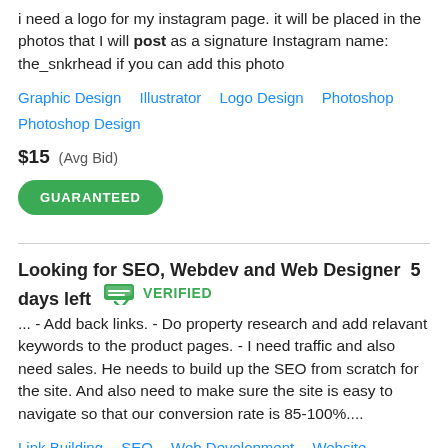i need a logo for my instagram page. it will be placed in the photos that I will post as a signature Instagram name: the_snkrhead if you can add this photo
Graphic Design   Illustrator   Logo Design   Photoshop   Photoshop Design
$15  (Avg Bid)
GUARANTEED
Looking for SEO, Webdev and Web Designer  5 days left   VERIFIED
... - Add back links. - Do property research and add relavant keywords to the product pages. - I need traffic and also need sales. He needs to build up the SEO from scratch for the site. And also need to make sure the site is easy to navigate so that our conversion rate is 85-100%....
Link Building   SEO   Web Development   Website Design